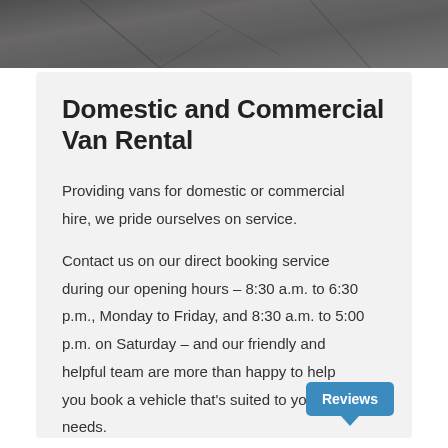[Figure (photo): Dark stone or road surface texture, grayscale, used as page header background image]
Domestic and Commercial Van Rental
Providing vans for domestic or commercial hire, we pride ourselves on service.
Contact us on our direct booking service during our opening hours – 8:30 a.m. to 6:30 p.m., Monday to Friday, and 8:30 a.m. to 5:00 p.m. on Saturday – and our friendly and helpful team are more than happy to help you book a vehicle that's suited to your needs.